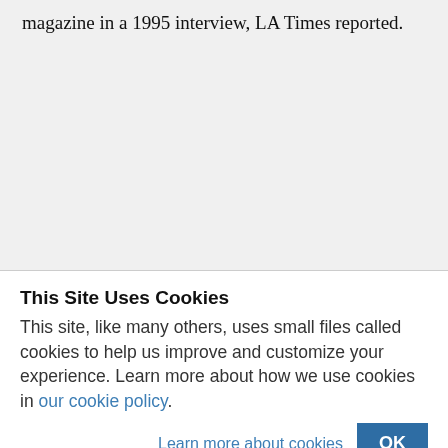magazine in a 1995 interview, LA Times reported.
This Site Uses Cookies
This site, like many others, uses small files called cookies to help us improve and customize your experience. Learn more about how we use cookies in our cookie policy.
Learn more about cookies  OK